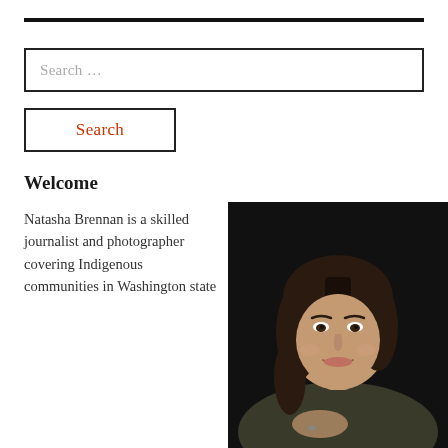Search ...
Search
Welcome
Natasha Brennan is a skilled journalist and photographer covering Indigenous communities in Washington state
[Figure (photo): Portrait photo of Natasha Brennan, a woman with long dark hair smiling, photographed against a dark background, wearing a dark green top.]